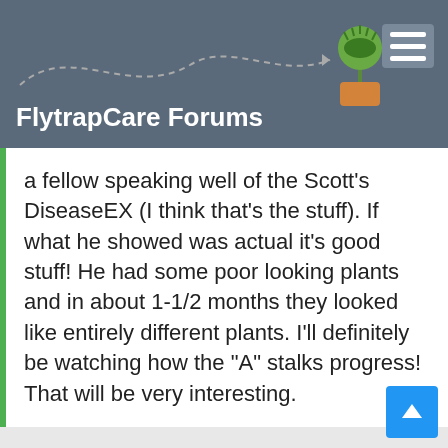FlytrapCare Forums
a fellow speaking well of the Scott's DiseaseEX (I think that's the stuff). If what he showed was actual it's good stuff! He had some poor looking plants and in about 1-1/2 months they looked like entirely different plants. I'll definitely be watching how the "A" stalks progress! That will be very interesting.
RE: FLYTRAP FLOWER STALK CUTTINGS
By Dan V
Location:
Posts: 131
Joined: Tue Oct 26, 2021 4:32 am